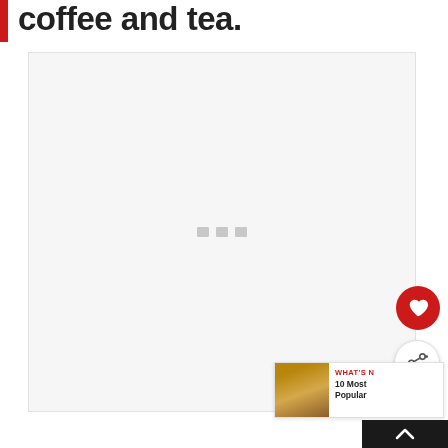coffee and tea.
[Figure (photo): Large image placeholder area with loading indicator (three gray squares), representing an embedded photo or video content area within a webpage.]
[Figure (illustration): Red circular favorite/heart button (FAB) on the right side]
[Figure (illustration): White circular share button (FAB) on the right side]
[Figure (screenshot): WHAT'S N... / 10 Most Popular thumbnail card in bottom right]
[Figure (illustration): Scroll to top button, dark background with up-arrow chevron]